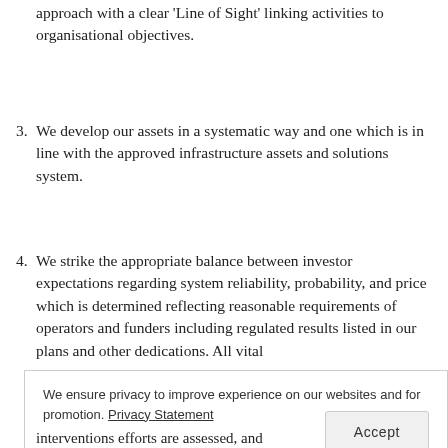approach with a clear 'Line of Sight' linking activities to organisational objectives.
3. We develop our assets in a systematic way and one which is in line with the approved infrastructure assets and solutions system.
4. We strike the appropriate balance between investor expectations regarding system reliability, probability, and price which is determined reflecting reasonable requirements of operators and funders including regulated results listed in our plans and other dedications. All vital
We ensure privacy to improve experience on our websites and for promotion. Privacy Statement
interventions efforts are assessed, and